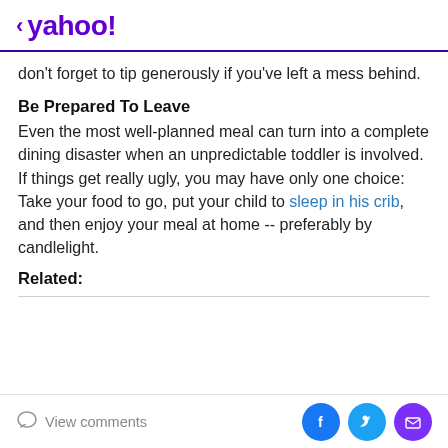< yahoo!
don't forget to tip generously if you've left a mess behind.
Be Prepared To Leave
Even the most well-planned meal can turn into a complete dining disaster when an unpredictable toddler is involved. If things get really ugly, you may have only one choice: Take your food to go, put your child to sleep in his crib, and then enjoy your meal at home -- preferably by candlelight.
Related:
View comments | Facebook | Twitter | Mail